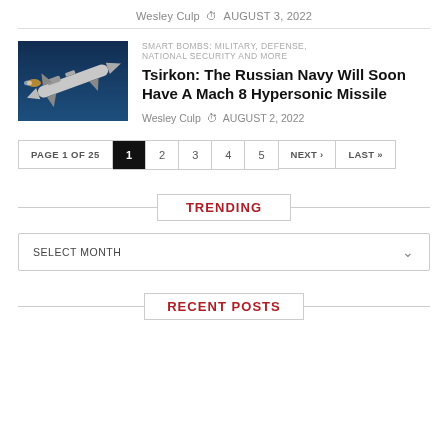Wesley Culp  AUGUST 3, 2022
[Figure (photo): Missile or rocket on blue background, side view]
SMART BOMBS: MILITARY, DEFENSE, NATIONAL SECURITY AND MORE
Tsirkon: The Russian Navy Will Soon Have A Mach 8 Hypersonic Missile
Wesley Culp  AUGUST 2, 2022
PAGE 1 OF 25  1  2  3  4  5  NEXT ›  LAST »
TRENDING
SELECT MONTH
RECENT POSTS